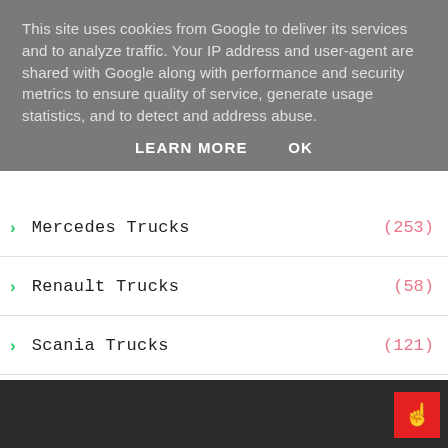This site uses cookies from Google to deliver its services and to analyze traffic. Your IP address and user-agent are shared with Google along with performance and security metrics to ensure quality of service, generate usage statistics, and to detect and address abuse.
LEARN MORE   OK
Mercedes Trucks (253)
Renault Trucks (58)
Scania Trucks (121)
Technology News (427)
Truck Crime (15)
Volvo Trucks (236)